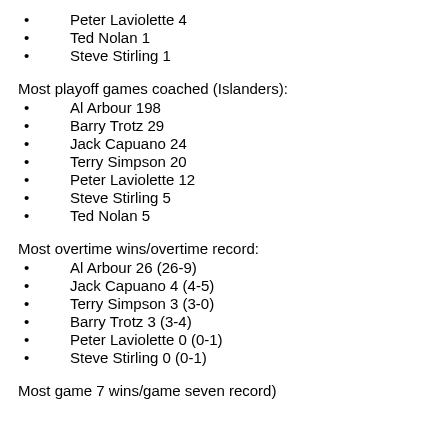Peter Laviolette 4
Ted Nolan 1
Steve Stirling 1
Most playoff games coached (Islanders):
Al Arbour 198
Barry Trotz 29
Jack Capuano 24
Terry Simpson 20
Peter Laviolette 12
Steve Stirling 5
Ted Nolan 5
Most overtime wins/overtime record:
Al Arbour 26 (26-9)
Jack Capuano 4 (4-5)
Terry Simpson 3 (3-0)
Barry Trotz 3 (3-4)
Peter Laviolette 0 (0-1)
Steve Stirling 0 (0-1)
Most game 7 wins/game seven record)